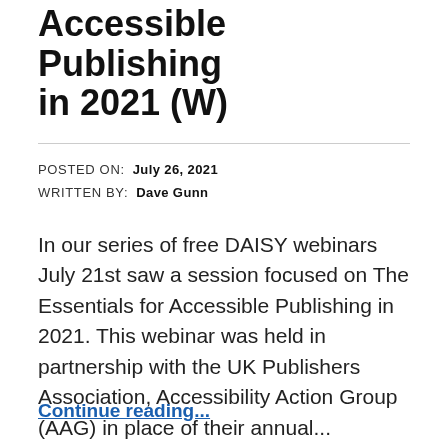Accessible Publishing in 2021 (W)
POSTED ON: July 26, 2021
WRITTEN BY: Dave Gunn
In our series of free DAISY webinars July 21st saw a session focused on The Essentials for Accessible Publishing in 2021. This webinar was held in partnership with the UK Publishers Association, Accessibility Action Group (AAG) in place of their annual...
Continue reading...